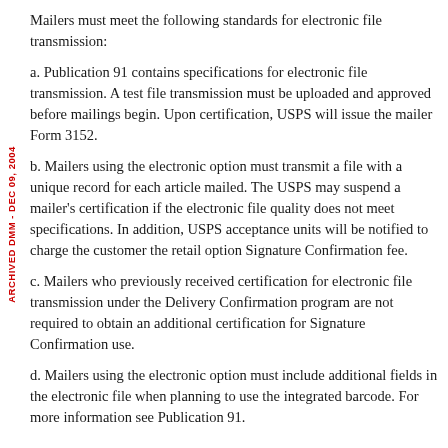Mailers must meet the following standards for electronic file transmission:
a. Publication 91 contains specifications for electronic file transmission. A test file transmission must be uploaded and approved before mailings begin. Upon certification, USPS will issue the mailer Form 3152.
b. Mailers using the electronic option must transmit a file with a unique record for each article mailed. The USPS may suspend a mailer’s certification if the electronic file quality does not meet specifications. In addition, USPS acceptance units will be notified to charge the customer the retail option Signature Confirmation fee.
c. Mailers who previously received certification for electronic file transmission under the Delivery Confirmation program are not required to obtain an additional certification for Signature Confirmation use.
d. Mailers using the electronic option must include additional fields in the electronic file when planning to use the integrated barcode. For more information see Publication 91.
5.0 Acceptance